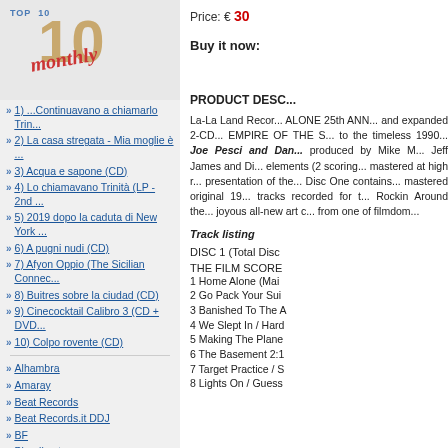[Figure (illustration): TOP 10 monthly logo with large tan '10' numeral and red italic 'monthly' text on grey background]
1) ...Continuavano a chiamarlo Trin...
2) La casa stregata - Mia moglie è ...
3) Acqua e sapone (CD)
4) Lo chiamavano Trinità (LP - 2nd ...
5) 2019 dopo la caduta di New York ...
6) A pugni nudi (CD)
7) Afyon Oppio (The Sicilian Connec...
8) Buitres sobre la ciudad (CD)
9) Cinecocktail Calibro 3 (CD + DVD...
10) Colpo rovente (CD)
Alhambra
Amaray
Beat Records
Beat Records.it DDJ
BF
Bloodbuster
Buysoundtrax
Price: € 30
Buy it now:
PRODUCT DESC
La-La Land Recor... ALONE 25th ANN... and expanded 2-CD... EMPIRE OF THE S... to the timeless 1990... Joe Pesci and Dan... produced by Mike M... Jeff James and Di... elements (2 scoring... mastered at high r... presentation of the... Disc One contains... mastered original 19... tracks recorded for t... Rockin Around the... joyous all-new art c... from one of filmdom...
Track listing
DISC 1 (Total Disc
THE FILM SCORE
1 Home Alone (Mai
2 Go Pack Your Sui
3 Banished To The A
4 We Slept In / Hard
5 Making The Plane
6 The Basement 2:1
7 Target Practice / S
8 Lights On / Guess